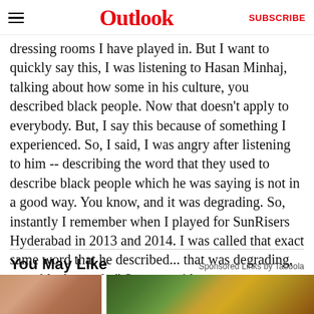Outlook | SUBSCRIBE
dressing rooms I have played in. But I want to quickly say this, I was listening to Hasan Minhaj, talking about how some in his culture, you described black people. Now that doesn't apply to everybody. But, I say this because of something I experienced. So, I said, I was angry after listening to him -- describing the word that they used to describe black people which he was saying is not in a good way. You know, and it was degrading. So, instantly I remember when I played for SunRisers Hyderabad in 2013 and 2014. I was called that exact same word that he described... that was degrading, to us black people," Sammy said.
You May Like
Sponsored Links by Taboola
[Figure (photo): Thumbnail image on the left - warm skin tones, orange-brown colors]
[Figure (photo): Thumbnail image on the right - green, yellow and brown colors suggesting outdoor scene]